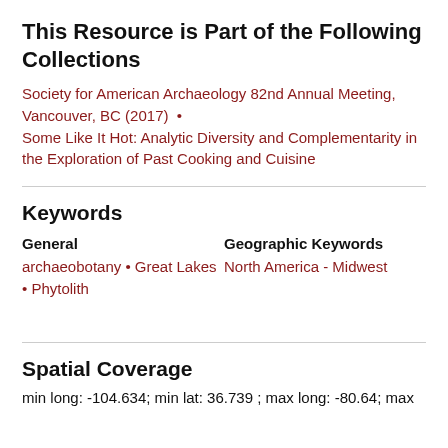This Resource is Part of the Following Collections
Society for American Archaeology 82nd Annual Meeting, Vancouver, BC (2017) • Some Like It Hot: Analytic Diversity and Complementarity in the Exploration of Past Cooking and Cuisine
Keywords
General: archaeobotany • Great Lakes • Phytolith | Geographic Keywords: North America - Midwest
Spatial Coverage
min long: -104.634; min lat: 36.739 ; max long: -80.64; max